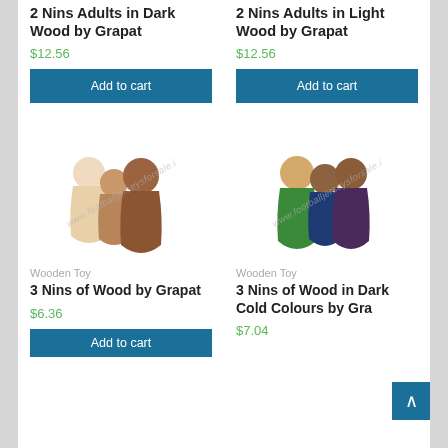2 Nins Adults in Dark Wood by Grapat
$12.56
Add to cart
2 Nins Adults in Light Wood by Grapat
$12.56
Add to cart
[Figure (photo): Three wooden peg figures in light/natural wood tones, varying heights, with watermark www.footballjerseysforsale.i]
[Figure (photo): Three wooden peg figures in dark cold colours (green, navy, purple), with watermark www.footballjerseysforsale.i]
Wooden Toy
3 Nins of Wood by Grapat
$6.36
Wooden Toy
3 Nins of Wood in Dark Cold Colours by Grapat
$7.04